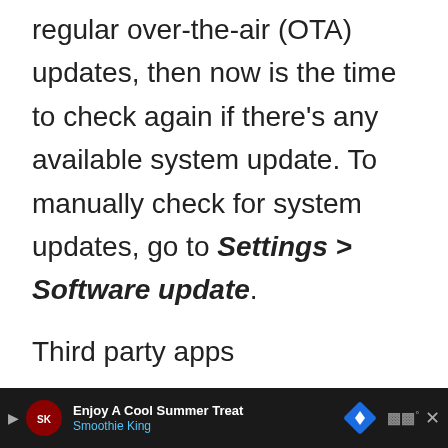regular over-the-air (OTA) updates, then now is the time to check again if there's any available system update. To manually check for system updates, go to Settings > Software update.
Third party apps
There's a chance that the issues you mention here can be caused by one of your installed apps. To check, you want to restart your phone to safe mode and
[Figure (screenshot): Advertisement banner for Smoothie King at bottom of screen: dark background with logo, text 'Enjoy A Cool Summer Treat / Smoothie King', navigation arrow icon, and wearable icon.]